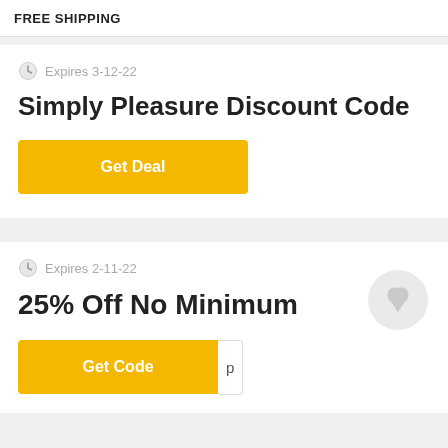FREE SHIPPING
Expires 3-12-22
Simply Pleasure Discount Code
Get Deal
Expires 2-11-22
25% Off No Minimum
Get Code